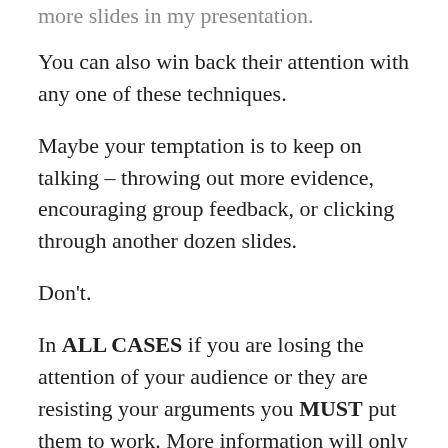more slides in my presentation.
You can also win back their attention with any one of these techniques.
Maybe your temptation is to keep on talking – throwing out more evidence, encouraging group feedback, or clicking through another dozen slides.
Don't.
In ALL CASES if you are losing the attention of your audience or they are resisting your arguments you MUST put them to work. More information will only serve to make them more entrenched.
The next time you're planning a meeting or presentation, or sweating bullets with 30 minutes